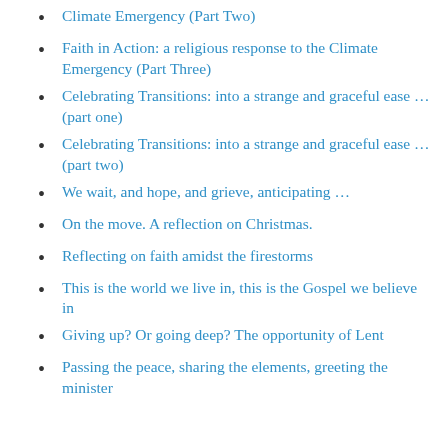Climate Emergency (Part Two)
Faith in Action: a religious response to the Climate Emergency (Part Three)
Celebrating Transitions: into a strange and graceful ease … (part one)
Celebrating Transitions: into a strange and graceful ease … (part two)
We wait, and hope, and grieve, anticipating …
On the move. A reflection on Christmas.
Reflecting on faith amidst the firestorms
This is the world we live in, this is the Gospel we believe in
Giving up? Or going deep? The opportunity of Lent
Passing the peace, sharing the elements, greeting the minister